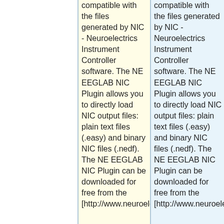compatible with the files generated by NIC - Neuroelectrics Instrument Controller software. The NE EEGLAB NIC Plugin allows you to directly load NIC output files: plain text files (.easy) and binary NIC files (.nedf). The NE EEGLAB NIC Plugin can be downloaded for free from the [http://www.neuroelectrics.com/support/#downloa
compatible with the files generated by NIC - Neuroelectrics Instrument Controller software. The NE EEGLAB NIC Plugin allows you to directly load NIC output files: plain text files (.easy) and binary NIC files (.nedf). The NE EEGLAB NIC Plugin can be downloaded for free from the [http://www.neuroelectrics.com/downloads/